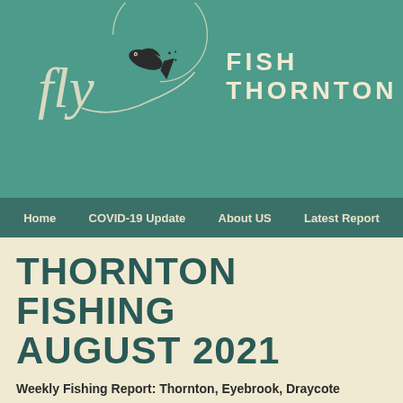[Figure (logo): Fly Fish Thornton logo with cursive 'fly' text, a leaping fish illustration in a circular design, and 'FISH THORNTON' text below on a teal/green background]
Home | COVID-19 Update | About US | Latest Report
THORNTON FISHING AUGUST 2021
Weekly Fishing Report: Thornton, Eyebrook, Draycote
Visit our Fisheries Websites: www.flyfishdraycote.co.uk  www.flyfi...
Online Shop: www.flyfishstore.co.uk  Tuition & Guiding: www.fly...